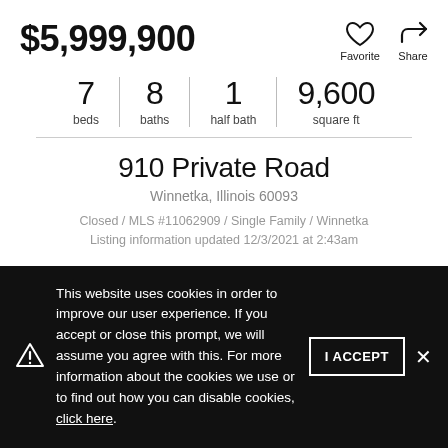$5,999,900
7 beds | 8 baths | 1 half bath | 9,600 square ft
910 Private Road
Winnetka, Illinois 60093
Closed / MLS #11062909 / Single Family / Winnetka
Listing information updated 12/3/2021 at 2:43am
This website uses cookies in order to improve our user experience. If you accept or close this prompt, we will assume you agree with this. For more information about the cookies we use or to find out how you can disable cookies, click here.